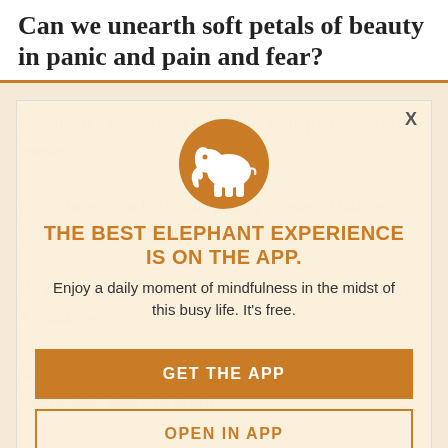Can we unearth soft petals of beauty in panic and pain and fear?
[Figure (infographic): App promotion modal overlay with Elephant Journal logo (white elephant on golden circle), headline 'THE BEST ELEPHANT EXPERIENCE IS ON THE APP.', subtext 'Enjoy a daily moment of mindfulness in the midst of this busy life. It's free.', two buttons: 'GET THE APP' and 'OPEN IN APP', and a close X button.]
THE BEST ELEPHANT EXPERIENCE IS ON THE APP.
Enjoy a daily moment of mindfulness in the midst of this busy life. It's free.
GET THE APP
OPEN IN APP